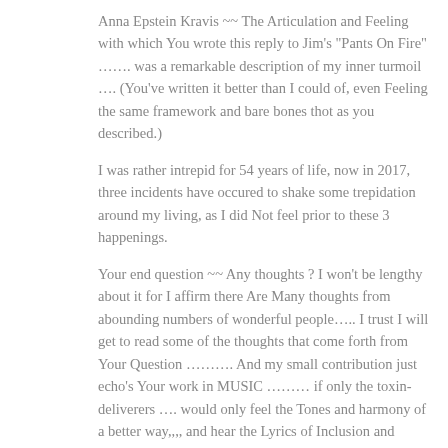Anna Epstein Kravis ~~ The Articulation and Feeling with which You wrote this reply to Jim's "Pants On Fire" ……. was a remarkable description of my inner turmoil …. (You've written it better than I could of, even Feeling the same framework and bare bones thot as you described.)
I was rather intrepid for 54 years of life, now in 2017, three incidents have occured to shake some trepidation around my living, as I did Not feel prior to these 3 happenings.
Your end question ~~ Any thoughts ? I won't be lengthy about it for I affirm there Are Many thoughts from abounding numbers of wonderful people….. I trust I will get to read some of the thoughts that come forth from Your Question ………. And my small contribution just echo's Your work in MUSIC ……… if only the toxin- deliverers …. would only feel the Tones and harmony of a better way,,,, and hear the Lyrics of Inclusion and Decency.
↵ Reply
Sandra Fayth Verbeke